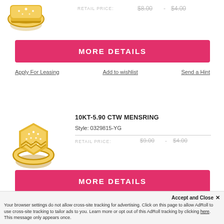[Figure (photo): Gold diamond ring product image, partially cut off at top]
RETAIL PRICE: $8.00 - $4.00
MORE DETAILS
Apply For Leasing   Add to wishlist   Send a Hint
[Figure (photo): Gold diamond hexagonal mens ring product image]
10KT-5.90 CTW MENSRING
Style: 0329815-YG
RETAIL PRICE: $9.00 - $4.00
MORE DETAILS
Apply For Leasing   Add to wishlist   Send a Hint
Accept and Close ×
Your browser settings do not allow cross-site tracking for advertising. Click on this page to allow AdRoll to use cross-site tracking to tailor ads to you. Learn more or opt out of this AdRoll tracking by clicking here. This message only appears once.